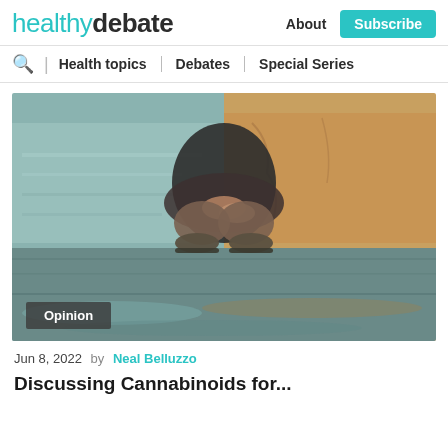healthydebate | About | Subscribe | Health topics | Debates | Special Series
[Figure (photo): A person crouching on the ground near water, wearing dark clothes and casual shoes, photographed from below. The image has a split color tone — cool teal/grey on the left side and warm amber/golden on the right side.]
Opinion
Jun 8, 2022  by  Neal Belluzzo
Discussing Cannabinoids for...